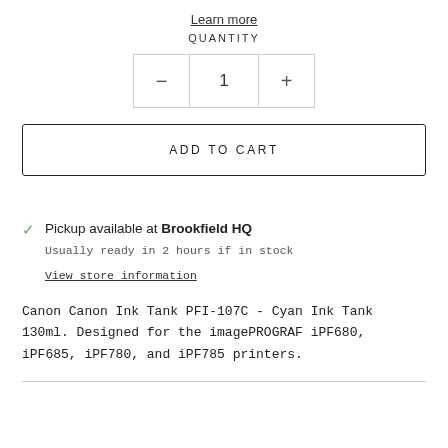Learn more
QUANTITY
- 1 +
ADD TO CART
Pickup available at Brookfield HQ
Usually ready in 2 hours if in stock
View store information
Canon Canon Ink Tank PFI-107C - Cyan Ink Tank 130ml. Designed for the imagePROGRAF iPF680, iPF685, iPF780, and iPF785 printers.